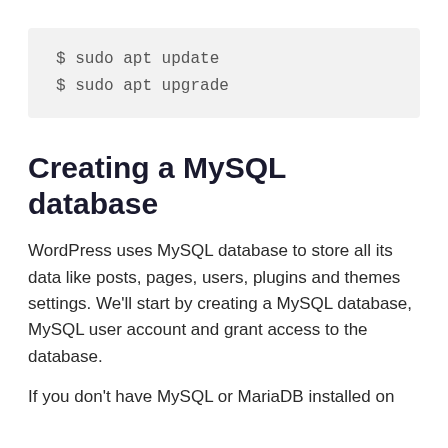$ sudo apt update
$ sudo apt upgrade
Creating a MySQL database
WordPress uses MySQL database to store all its data like posts, pages, users, plugins and themes settings. We'll start by creating a MySQL database, MySQL user account and grant access to the database.
If you don't have MySQL or MariaDB installed on